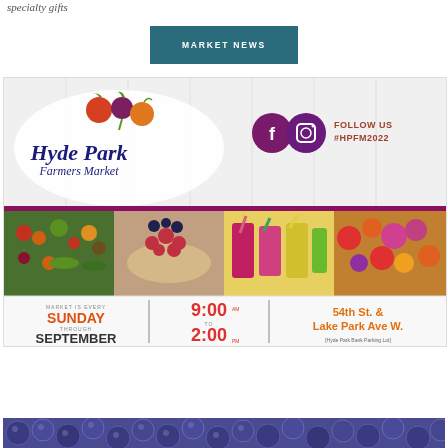specialty gifts
MARKET NEWS
[Figure (infographic): Hyde Park Farmers Market banner with logo showing colorful fruits, social media icons (Facebook, Instagram), text FOLLOW US #HPFM2022, food photos strip, and schedule: Market is every SUNDAY through SEPTEMBER, 9:00 AM TO 2:00 PM, 54th St. & Lake Park Ave W. [Hyde Park Bank Parking Lot]]
[Figure (photo): Close-up photo of fresh blueberries, partially visible at bottom of page]